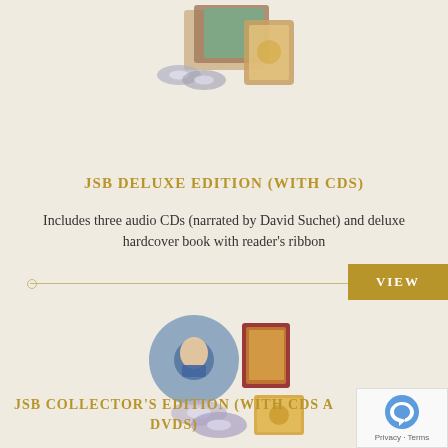[Figure (photo): Product photo of JSB Deluxe Edition showing books and CDs at top of page]
JSB DELUXE EDITION (WITH CDS)
Includes three audio CDs (narrated by David Suchet) and deluxe hardcover book with reader's ribbon
VIEW
[Figure (photo): Product photo of JSB Collector's Edition showing CDs, DVDs, books with David Suchet portrait]
JSB COLLECTOR'S EDITION (WITH CDS AND DVDS)